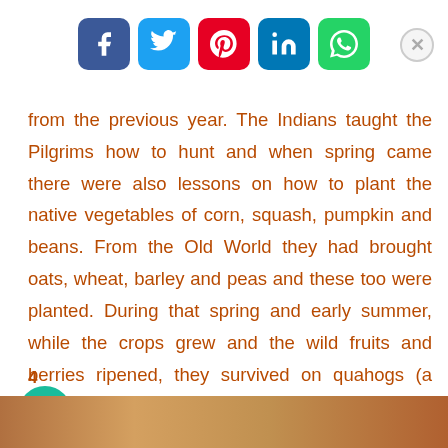[Figure (screenshot): Social media share buttons bar: Facebook (blue), Twitter (light blue), Pinterest (red), LinkedIn (blue), WhatsApp (green), and a close/X button on the right]
from the previous year. The Indians taught the Pilgrims how to hunt and when spring came there were also lessons on how to plant the native vegetables of corn, squash, pumpkin and beans. From the Old World they had brought oats, wheat, barley and peas and these too were planted. During that spring and early summer, while the crops grew and the wild fruits and berries ripened, they survived on quahogs (a kind of North American clam) and other shellfish.
4
[Figure (photo): Partial bottom strip of a photo, appears to show colorful items]